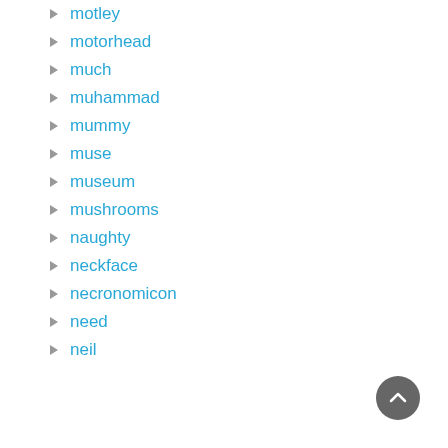motley
motorhead
much
muhammad
mummy
muse
museum
mushrooms
naughty
neckface
necronomicon
need
neil